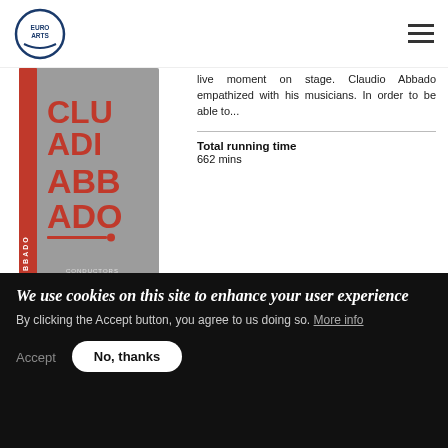[Figure (logo): EuroArts logo: blue circle with 'EuroArts' text inside]
[Figure (photo): Claudio Abbado Conductors box set product image with large red text on grey background]
live moment on stage. Claudio Abbado empathized with his musicians. In order to be able to...
Total running time
662 mins
[Figure (photo): Zubin Mehta Retrospective box set product image with grey background and orange accent, showing 'ZU' text]
Conductors – Zubin Mehta – Retrospective
"I cannot begin even to describe what I have learnt with these musicians. Maybe they have learnt a little something from me, but that is nothing...
We use cookies on this site to enhance your user experience
By clicking the Accept button, you agree to us doing so. More info
Accept
No, thanks